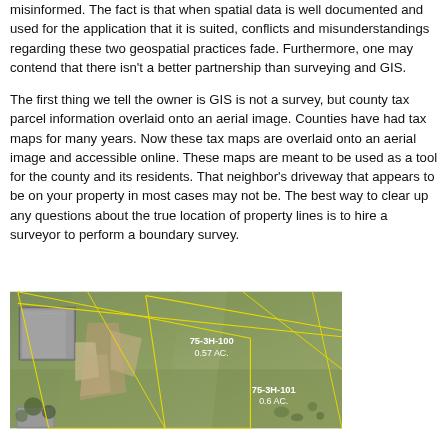misinformed. The fact is that when spatial data is well documented and used for the application that it is suited, conflicts and misunderstandings regarding these two geospatial practices fade. Furthermore, one may contend that there isn't a better partnership than surveying and GIS.
The first thing we tell the owner is GIS is not a survey, but county tax parcel information overlaid onto an aerial image. Counties have had tax maps for many years. Now these tax maps are overlaid onto an aerial image and accessible online. These maps are meant to be used as a tool for the county and its residents. That neighbor's driveway that appears to be on your property in most cases may not be. The best way to clear up any questions about the true location of property lines is to hire a surveyor to perform a boundary survey.
[Figure (photo): Aerial photograph of residential parcels with yellow GIS property boundary lines overlaid. Two parcels are labeled: 75-3H-100 (0.57 AC.) and 75-3H-101 (0.6 AC.). A house with a gray roof is visible in the upper left portion of the image.]